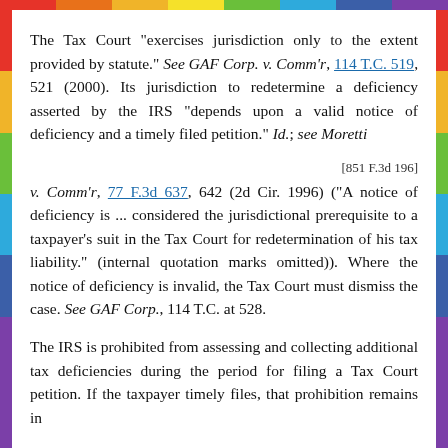The Tax Court "exercises jurisdiction only to the extent provided by statute." See GAF Corp. v. Comm'r, 114 T.C. 519, 521 (2000). Its jurisdiction to redetermine a deficiency asserted by the IRS "depends upon a valid notice of deficiency and a timely filed petition." Id.; see Moretti
[851 F.3d 196]
v. Comm'r, 77 F.3d 637, 642 (2d Cir. 1996) ("A notice of deficiency is ... considered the jurisdictional prerequisite to a taxpayer's suit in the Tax Court for redetermination of his tax liability." (internal quotation marks omitted)). Where the notice of deficiency is invalid, the Tax Court must dismiss the case. See GAF Corp., 114 T.C. at 528.
The IRS is prohibited from assessing and collecting additional tax deficiencies during the period for filing a Tax Court petition. If the taxpayer timely files, that prohibition remains in